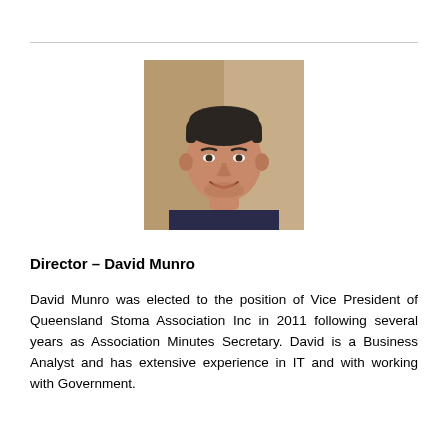[Figure (photo): Headshot photo of David Munro, a middle-aged man with short dark hair, smiling, wearing a dark navy shirt, photographed indoors against a warm beige/tan background.]
Director – David Munro
David Munro was elected to the position of Vice President of Queensland Stoma Association Inc in 2011 following several years as Association Minutes Secretary. David is a Business Analyst and has extensive experience in IT and with working with Government.